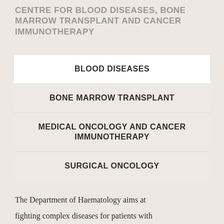CENTRE FOR BLOOD DISEASES, BONE MARROW TRANSPLANT AND CANCER IMMUNOTHERAPY
BLOOD DISEASES
BONE MARROW TRANSPLANT
MEDICAL ONCOLOGY AND CANCER IMMUNOTHERAPY
SURGICAL ONCOLOGY
The Department of Haematology aims at fighting complex diseases for patients with